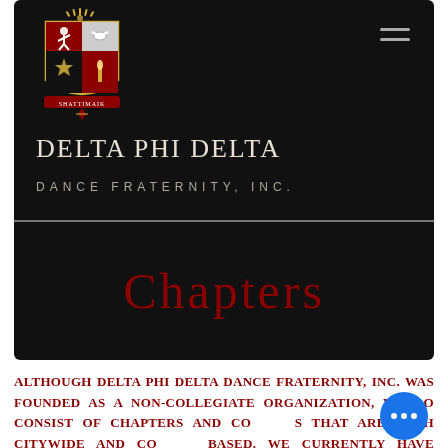[Figure (logo): Delta Phi Delta Dance Fraternity coat of arms / shield logo with crown and banner]
DELTA PHI DELTA
DANCE FRATERNITY, INC.
Chapters
Although Delta Phi Delta Dance Fraternity, Inc. was founded as a non-collegiate organization, we do consist of Chapters and Colonies that are both citywide and college-based. We currently have established